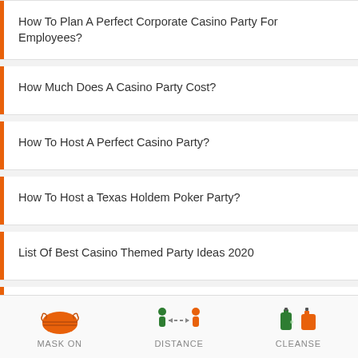How To Plan A Perfect Corporate Casino Party For Employees?
How Much Does A Casino Party Cost?
How To Host A Perfect Casino Party?
How To Host a Texas Holdem Poker Party?
List Of Best Casino Themed Party Ideas 2020
Casino Party Games For Las Vegas Style Casino Night!
How To Plan a Casino Night Fundraiser?
[Figure (infographic): Footer bar with three COVID safety icons: MASK ON (orange mask icon), DISTANCE (two person figures with dashed line between them, green and orange), CLEANSE (hand sanitizer and soap icons, green and orange)]